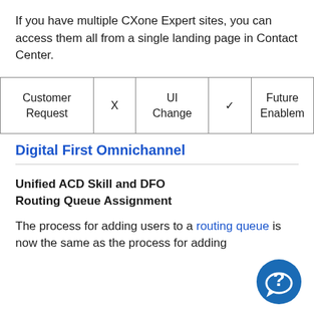If you have multiple CXone Expert sites, you can access them all from a single landing page in Contact Center.
| Customer Request | X | UI Change | ✓ | Future Enablem... |
| --- | --- | --- | --- | --- |
| Customer Request | X | UI Change | ✓ | Future Enablem... |
Digital First Omnichannel
Unified ACD Skill and DFO Routing Queue Assignment
The process for adding users to a routing queue is now the same as the process for adding